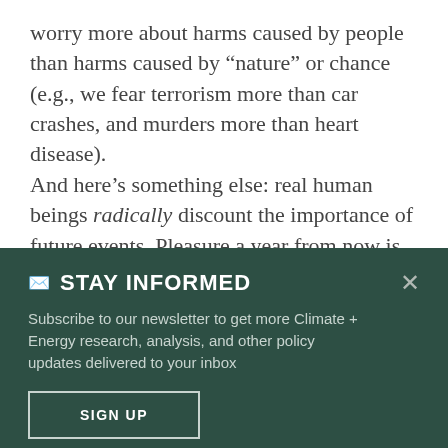worry more about harms caused by people than harms caused by “nature” or chance (e.g., we fear terrorism more than car crashes, and murders more than heart disease).

And here’s something else: real human beings radically discount the importance of future events. Pleasure a year from now is
STAY INFORMED
Subscribe to our newsletter to get more Climate + Energy research, analysis, and other policy updates delivered to your inbox
SIGN UP